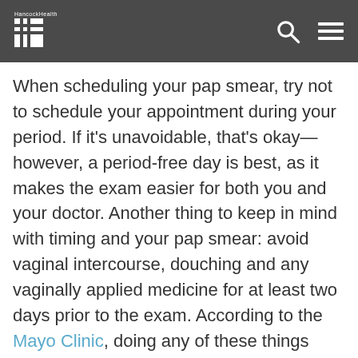Hancock Health
When scheduling your pap smear, try not to schedule your appointment during your period. If it's unavoidable, that's okay—however, a period-free day is best, as it makes the exam easier for both you and your doctor. Another thing to keep in mind with timing and your pap smear: avoid vaginal intercourse, douching and any vaginally applied medicine for at least two days prior to the exam. According to the Mayo Clinic, doing any of these things within two days of your test may obscure or even wash away potential abnormal cells your doctor will be swabbing for.